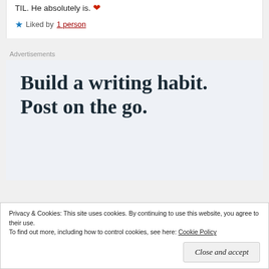TIL. He absolutely is. ❤
★ Liked by 1 person
Advertisements
[Figure (other): Advertisement banner with text: Build a writing habit. Post on the go.]
Privacy & Cookies: This site uses cookies. By continuing to use this website, you agree to their use. To find out more, including how to control cookies, see here: Cookie Policy
Close and accept